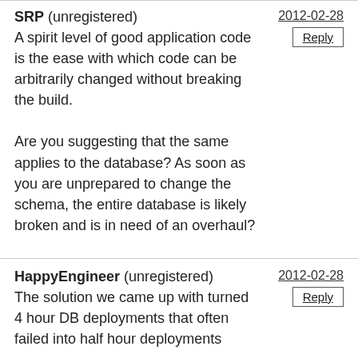SRP (unregistered)
A spirit level of good application code is the ease with which code can be arbitrarily changed without breaking the build.

Are you suggesting that the same applies to the database? As soon as you are unprepared to change the schema, the entire database is likely broken and is in need of an overhaul?
HappyEngineer (unregistered)
The solution we came up with turned 4 hour DB deployments that often failed into half hour deployments